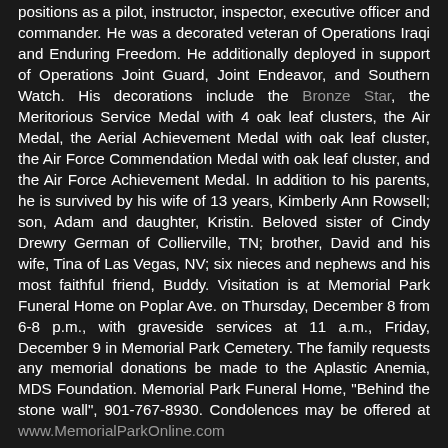positions as a pilot, instructor, inspector, executive officer and commander. He was a decorated veteran of Operations Iraqi and Enduring Freedom. He additionally deployed in support of Operations Joint Guard, Joint Endeavor, and Southern Watch. His decorations include the Bronze Star, the Meritorious Service Medal with 4 oak leaf clusters, the Air Medal, the Aerial Achievement Medal with oak leaf cluster, the Air Force Commendation Medal with oak leaf cluster, and the Air Force Achievement Medal. In addition to his parents, he is survived by his wife of 13 years, Kimberly Ann Rowsell; son, Adam and daughter, Kristin. Beloved sister of Cindy Drewry German of Collierville, TN; brother, David and his wife, Tina of Las Vegas, NV; six nieces and nephews and his most faithful friend, Buddy. Visitation is at Memorial Park Funeral Home on Poplar Ave. on Thursday, December 8 from 6-8 p.m., with graveside services at 11 a.m., Friday, December 9 in Memorial Park Cemetery. The family requests any memorial donations be made to the Aplastic Anemia, MDS Foundation. Memorial Park Funeral Home, "Behind the stone wall", 901-767-8930. Condolences may be offered at www.MemorialParkOnline.com
Published in The Commercial Appeal on
December 7, 2011